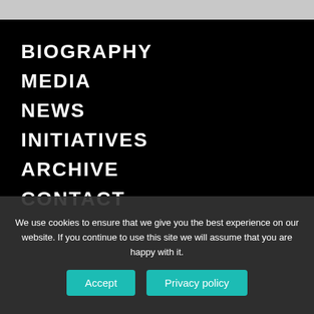[Figure (screenshot): Navigation menu overlay on a dark background showing website nav items: BIOGRAPHY, MEDIA, NEWS, INITIATIVES, ARCHIVE, CONTACT in white bold uppercase text on black background. Partially visible background page content with text fragments on right side.]
a specialty legislated zone
Yukos's tax burden; the tax
Investment of Yukos funds
Corporation.
We use cookies to ensure that we give you the best experience on our website. If you continue to use this site we will assume that you are happy with it.
Accept
Privacy policy